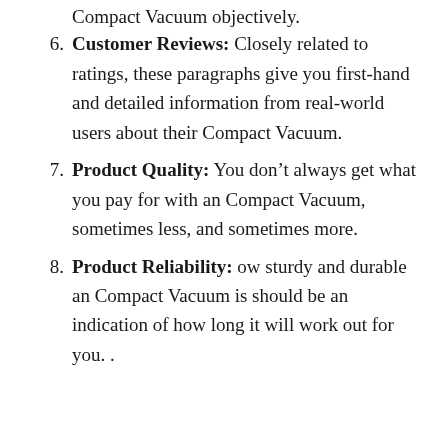Compact Vacuum objectively.
Customer Reviews: Closely related to ratings, these paragraphs give you first-hand and detailed information from real-world users about their Compact Vacuum.
Product Quality: You don’t always get what you pay for with an Compact Vacuum, sometimes less, and sometimes more.
Product Reliability: ow sturdy and durable an Compact Vacuum is should be an indication of how long it will work out for you. .